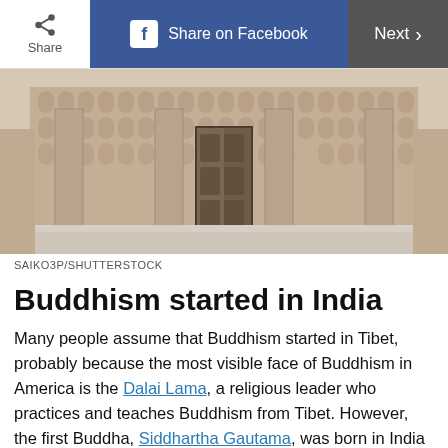Share   Share on Facebook   Next >
[Figure (photo): Ornate Indian temple facade with intricate carvings, arched niches, and large decorated columns, centered wooden double doors]
SAIKO3P/SHUTTERSTOCK
Buddhism started in India
Many people assume that Buddhism started in Tibet, probably because the most visible face of Buddhism in America is the Dalai Lama, a religious leader who practices and teaches Buddhism from Tibet. However, the first Buddha, Siddhartha Gautama, was born in India around 567 B.C.E. Over the course of many centuries, Buddhism swept over Tibet and much of Asia, as well as other parts